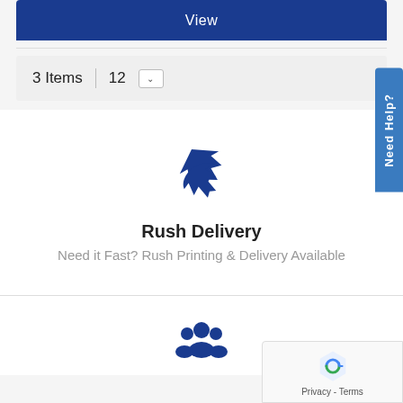View
3 Items  12 ∨
[Figure (other): Need Help? vertical tab on right side]
[Figure (other): Airplane icon for Rush Delivery section]
Rush Delivery
Need it Fast? Rush Printing & Delivery Available
[Figure (other): Group/people icon for lower section]
[Figure (other): reCAPTCHA badge with Privacy and Terms text]